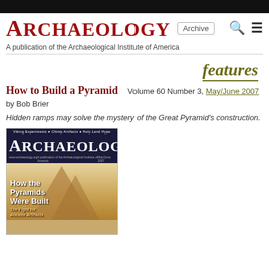[Figure (logo): Archaeology magazine logo with Archive link and search/menu icons in header]
A publication of the Archaeological Institute of America
features
How to Build a Pyramid
Volume 60 Number 3, May/June 2007
by Bob Brier
Hidden ramps may solve the mystery of the Great Pyramid's construction.
[Figure (photo): Cover of Archaeology magazine May/June 2007 issue showing pyramids with text 'How the Pyramids Were Built' and 'The Fight for Ancient Artifacts']